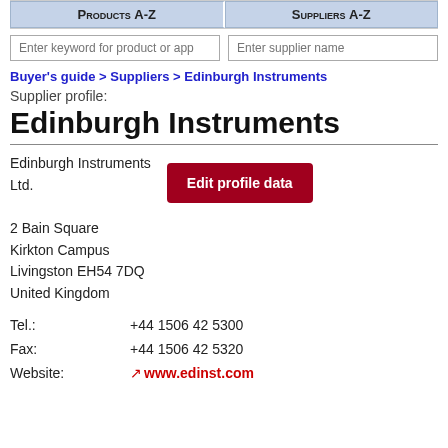Products A-Z | Suppliers A-Z
Enter keyword for product or app | Enter supplier name
Buyer's guide > Suppliers > Edinburgh Instruments
Supplier profile:
Edinburgh Instruments
Edinburgh Instruments Ltd.
2 Bain Square
Kirkton Campus
Livingston EH54 7DQ
United Kingdom
Edit profile data
Tel.: +44 1506 42 5300
Fax: +44 1506 42 5320
Website: www.edinst.com